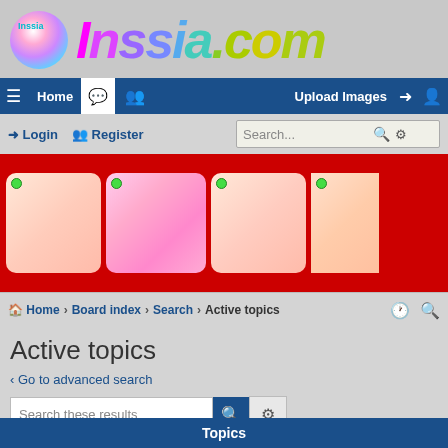[Figure (logo): Inssia.com website logo with colorful gradient text and sphere icon]
☰ Home 💬 👥 Upload Images ➜ 👤+
➜ Login 👥+ Register
[Figure (photo): Red banner with four thumbnail images]
🏠 Home › Board index › Search › Active topics
Active topics
‹ Go to advanced search
Search these results
Search found 596 matches  1 2 3 4 5 … 30 ›
Topics